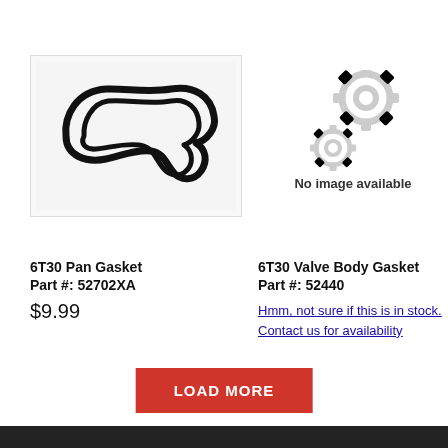[Figure (photo): Photo of a black rubber 6T30 Pan Gasket on white background — a flat, irregularly shaped loop gasket.]
[Figure (other): No image available placeholder with two grey gear icons and the text 'No image available'.]
6T30 Pan Gasket
Part #: 52702XA
$9.99
6T30 Valve Body Gasket
Part #: 52440
Hmm, not sure if this is in stock. Contact us for availability
LOAD MORE